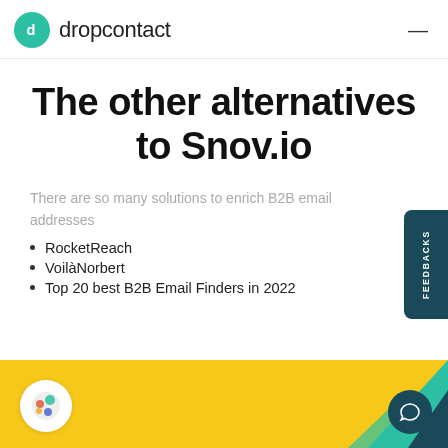dropcontact
The other alternatives to Snov.io
There are so many solutions to enrich B2B email addresses
RocketReach
VoilàNorbert
Top 20 best B2B Email Finders in 2022